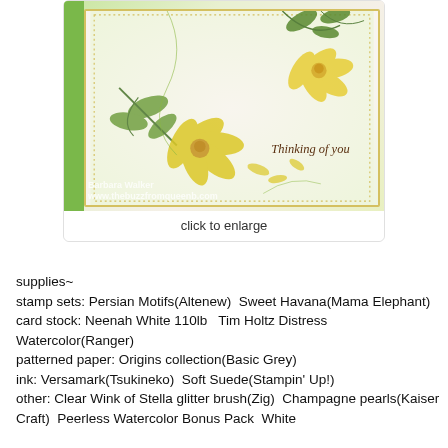[Figure (photo): A handmade greeting card with yellow flowers and green leaves on a cream background with gold dotted border, reading 'Thinking of you'. Watermark: Barbara Walker, www.thebuzzfromqueenb.com]
click to enlarge
supplies~
stamp sets: Persian Motifs(Altenew)  Sweet Havana(Mama Elephant)
card stock: Neenah White 110lb   Tim Holtz Distress Watercolor(Ranger)
patterned paper: Origins collection(Basic Grey)
ink: Versamark(Tsukineko)  Soft Suede(Stampin' Up!)
other: Clear Wink of Stella glitter brush(Zig)  Champagne pearls(Kaiser Craft)  Peerless Watercolor Bonus Pack  White